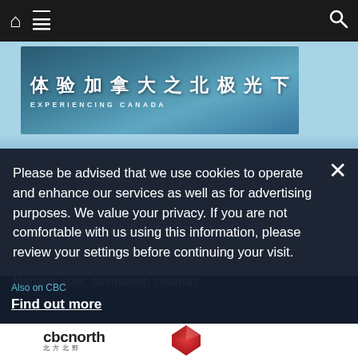Navigation bar with home icon, menu icon, and search icon
[Figure (screenshot): CBC banner image with Chinese text '体验加拿大之北极光下' and subtitle 'EXPERIENCING CANADA' on a blue winter landscape background]
Please be advised that we use cookies to operate and enhance our services as well as for advertising purposes. We value your privacy. If you are not comfortable with us using this information, please review your settings before continuing your visit.
Manage your navigation settings
Also on CBC
Find out more
[Figure (logo): CBC North logo with 'cbcnorth' text]
[Figure (logo): CBC gem logo - red circular gem shape]